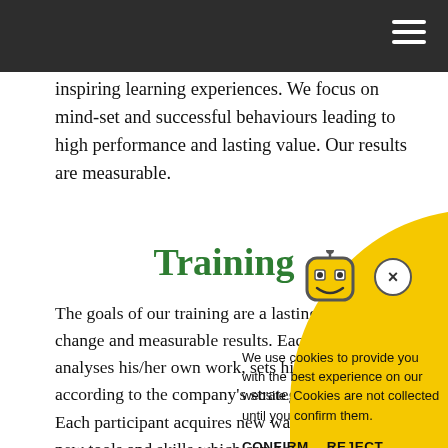inspiring learning experiences. We focus on mind-set and successful behaviours leading to high performance and lasting value. Our results are measurable.
Training
The goals of our training are a lasting behaviour change and measurable results. Each participant analyses his/her own work, sets his/her goals according to the company's strategy and goals. Each participant acquires new ways of thinking, new tools and skills which can be applied in his/her everyday work.
Coaching
We define coaching as the practice of 'non-directive guidance', which usually takes place in a one-on-one meeting. Its purpose is to simultaneously boost personal
We use cookies to provide you with the best experience on our website. Cookies are not collected until you confirm them.

CONFIRM   REJECT

READ MORE